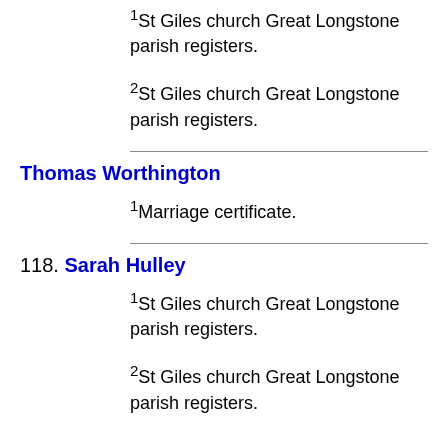1St Giles church Great Longstone parish registers.
2St Giles church Great Longstone parish registers.
Thomas Worthington
1Marriage certificate.
118. Sarah Hulley
1St Giles church Great Longstone parish registers.
2St Giles church Great Longstone parish registers.